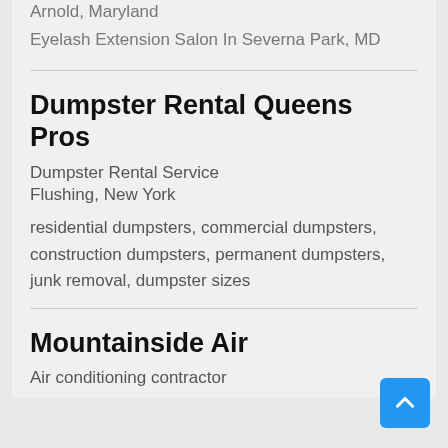Arnold, Maryland
Eyelash Extension Salon In Severna Park, MD
Dumpster Rental Queens Pros
Dumpster Rental Service
Flushing, New York
residential dumpsters, commercial dumpsters, construction dumpsters, permanent dumpsters, junk removal, dumpster sizes
Mountainside Air
Air conditioning contractor